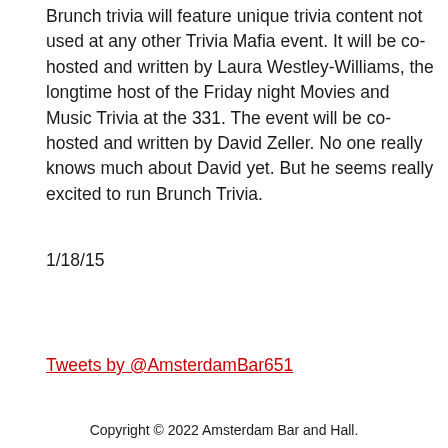Brunch trivia will feature unique trivia content not used at any other Trivia Mafia event. It will be co-hosted and written by Laura Westley-Williams, the longtime host of the Friday night Movies and Music Trivia at the 331. The event will be co-hosted and written by David Zeller. No one really knows much about David yet. But he seems really excited to run Brunch Trivia.
1/18/15
Tweets by @AmsterdamBar651
Copyright © 2022 Amsterdam Bar and Hall.